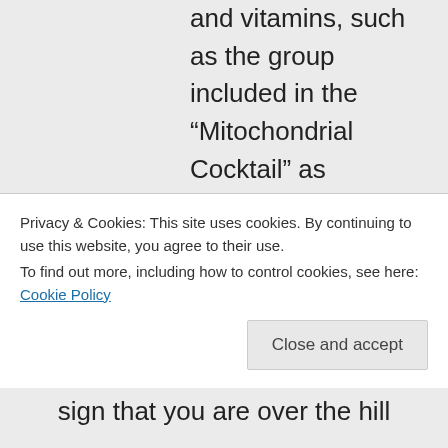and vitamins, such as the group included in the “Mitochondrial Cocktail” as compiled by the Cleveland Clinic, will help support mitochondrial functioning. Some of the nutrients will benefit some people more than others since everyone has their own biochemical
Privacy & Cookies: This site uses cookies. By continuing to use this website, you agree to their use. To find out more, including how to control cookies, see here: Cookie Policy
sign that you are over the hill